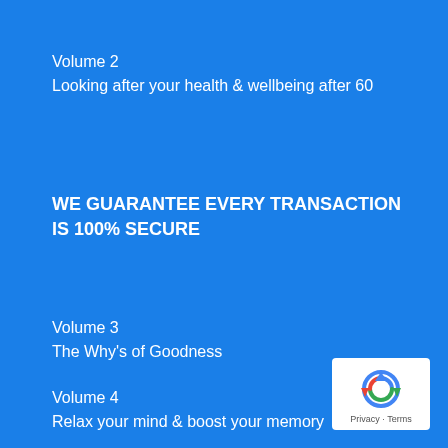Volume 2
Looking after your health & wellbeing after 60
WE GUARANTEE EVERY TRANSACTION IS 100% SECURE
Volume 3
The Why's of Goodness
Volume 4
Relax your mind & boost your memory
[Figure (logo): reCAPTCHA badge with Privacy and Terms text]